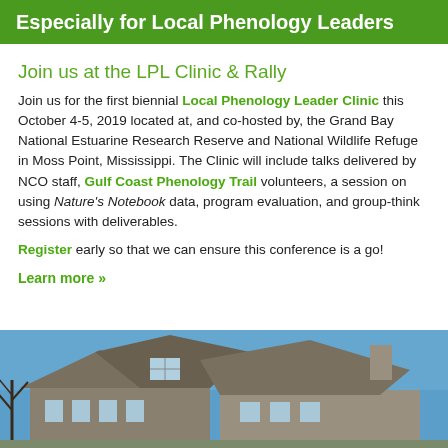Especially for Local Phenology Leaders
Join us at the LPL Clinic & Rally
Join us for the first biennial Local Phenology Leader Clinic this October 4-5, 2019 located at, and co-hosted by, the Grand Bay National Estuarine Research Reserve and National Wildlife Refuge in Moss Point, Mississippi. The Clinic will include talks delivered by NCO staff, Gulf Coast Phenology Trail volunteers, a session on using Nature's Notebook data, program evaluation, and group-think sessions with deliverables.
Register early so that we can ensure this conference is a go!
Learn more »
[Figure (photo): Photograph of a building with angular roofline against a blue sky, appears to be the Grand Bay National Estuarine Research Reserve facility.]